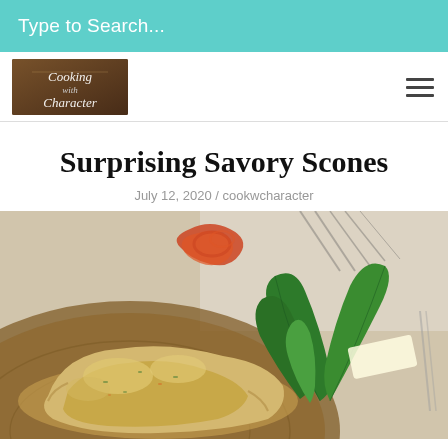Type to Search...
[Figure (logo): Cooking with Character blog logo — script text on wooden background]
Surprising Savory Scones
July 12, 2020 / cookwcharacter
[Figure (photo): Close-up photo of a savory herb scone on a wooden plate, garnished with fresh green basil leaves, with red/orange garnish in background]